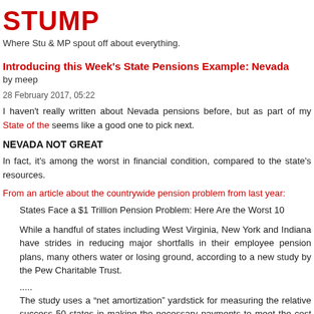STUMP
Where Stu & MP spout off about everything.
Introducing this Week's State Pensions Example: Nevada
by meep
28 February 2017, 05:22
I haven't really written about Nevada pensions before, but as part of my State of the seems like a good one to pick next.
NEVADA NOT GREAT
In fact, it's among the worst in financial condition, compared to the state's resources.
From an article about the countrywide pension problem from last year:
States Face a $1 Trillion Pension Problem: Here Are the Worst 10
While a handful of states including West Virginia, New York and Indiana have strides in reducing major shortfalls in their employee pension plans, many others water or losing ground, according to a new study by the Pew Charitable Trust.
.....
The study uses a "net amortization" yardstick for measuring the relative success 50 states in making the necessary payments to meet the cost of retirement gradually shrinking their unfunded liabilities. In Pew's first report card using this m